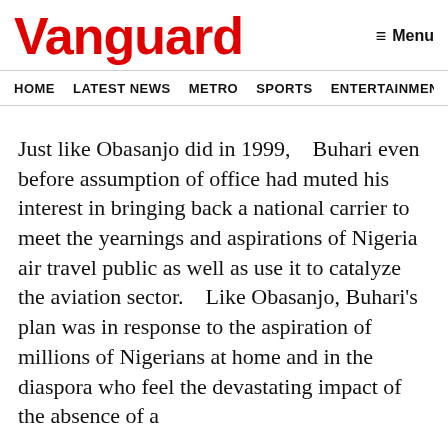Vanguard
HOME  LATEST NEWS  METRO  SPORTS  ENTERTAINMENT  VIDEOS
Just like Obasanjo did in 1999,   Buhari even before assumption of office had muted his interest in bringing back a national carrier to meet the yearnings and aspirations of Nigeria air travel public as well as use it to catalyze the aviation sector.   Like Obasanjo, Buhari's plan was in response to the aspiration of millions of Nigerians at home and in the diaspora who feel the devastating impact of the absence of a